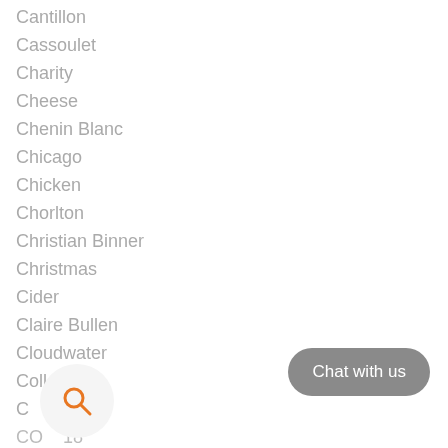Cantillon
Cassoulet
Charity
Cheese
Chenin Blanc
Chicago
Chicken
Chorlton
Christian Binner
Christmas
Cider
Claire Bullen
Cloudwater
Collab
C...
CO... 18